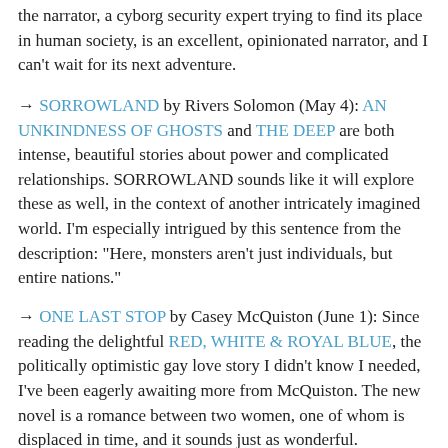the narrator, a cyborg security expert trying to find its place in human society, is an excellent, opinionated narrator, and I can't wait for its next adventure.
→ SORROWLAND by Rivers Solomon (May 4): AN UNKINDNESS OF GHOSTS and THE DEEP are both intense, beautiful stories about power and complicated relationships. SORROWLAND sounds like it will explore these as well, in the context of another intricately imagined world. I'm especially intrigued by this sentence from the description: "Here, monsters aren't just individuals, but entire nations."
→ ONE LAST STOP by Casey McQuiston (June 1): Since reading the delightful RED, WHITE & ROYAL BLUE, the politically optimistic gay love story I didn't know I needed, I've been eagerly awaiting more from McQuiston. The new novel is a romance between two women, one of whom is displaced in time, and it sounds just as wonderful.
→ THE HIDDEN PALACE by Helene Wecker (June 8): This sequel to THE GOLEM AND THE JINNI has undergone changes to both title and release date since it was first